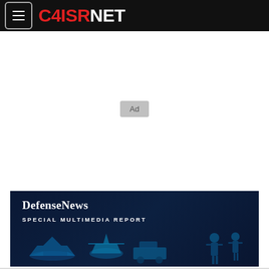C4ISRNET
[Figure (other): Ad placeholder badge in white area]
[Figure (photo): DefenseNews Special Multimedia Report banner with dark blue background and military vehicle silhouettes]